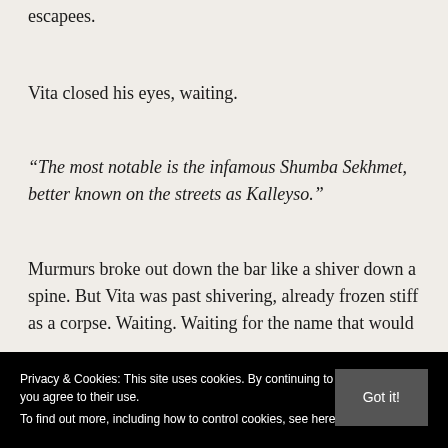escapees.
Vita closed his eyes, waiting.
“The most notable is the infamous Shumba Sekhmet, better known on the streets as Kalleyso.”
Murmurs broke out down the bar like a shiver down a spine. But Vita was past shivering, already frozen stiff as a corpse. Waiting. Waiting for the name that would
Privacy & Cookies: This site uses cookies. By continuing to use this website, you agree to their use.
To find out more, including how to control cookies, see here: Cookie Policy
Got it!